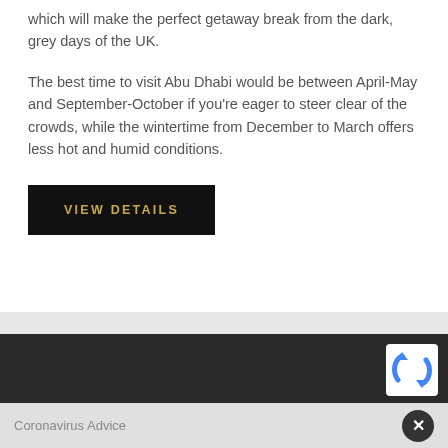which will make the perfect getaway break from the dark, grey days of the UK.
The best time to visit Abu Dhabi would be between April-May and September-October if you're eager to steer clear of the crowds, while the wintertime from December to March offers less hot and humid conditions.
[Figure (other): Black button with gold uppercase text reading VIEW DETAILS]
[Figure (other): Dark gray/charcoal banner section]
[Figure (other): reCAPTCHA badge — white box with blue reCAPTCHA logo]
Coronavirus Advice